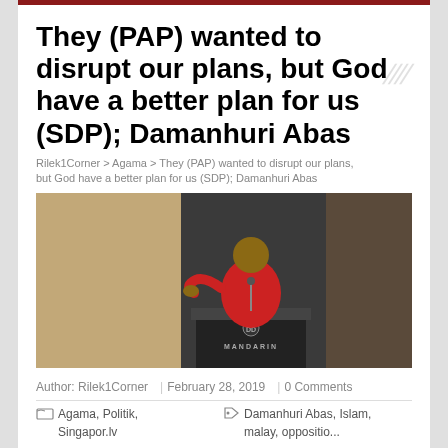They (PAP) wanted to disrupt our plans, but God have a better plan for us (SDP); Damanhuri Abas
Rilek1Corner > Agama > They (PAP) wanted to disrupt our plans, but God have a better plan for us (SDP); Damanhuri Abas
[Figure (photo): Man in red shirt speaking at a podium with 'Mandarin' label, against a dark background, gesturing with his right hand.]
Author: Rilek1Corner | February 28, 2019 | 0 Comments
Agama, Politik, Singapor.lv
Damanhuri Abas, Islam, malay, oppositio...